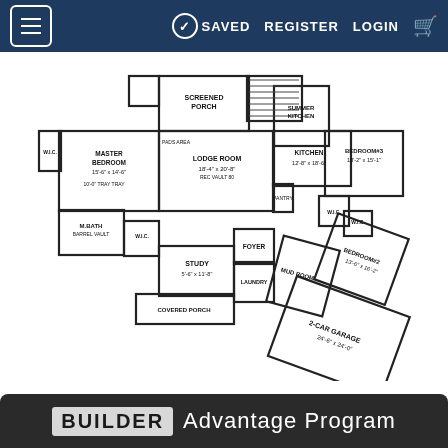≡  SAVED  REGISTER  LOGIN  🛒
Reverse
[Figure (engineering-diagram): House floor plan showing: Screened Porch, Summer Kitchen, Kitchen (12'-8" x 18'-6"), Master Bedroom (15'-6" x 14'-6"), Lodge Room (18'-4" x 20'-8"), Bedroom #3 (13'-2" x 15'-1"), M.Bath, Study (5'-6" x 11'-8"), Foyer, Mud Room, Laundry, Covered Porch, Bedroom #2 (13'-6" x 16'-2"), W.I.C. areas, 2-Car Garage (24'-6" x 24'-0")]
BUILDER Advantage Program